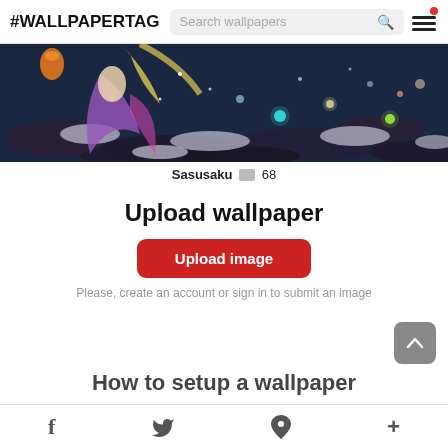#WALLPAPERTAG  Search wallpapers
[Figure (illustration): Anime character illustration — a blonde character with purple/pink flowing garments stepping on dark water with luminous bubbles and orbs floating around in a night scene.]
Sasusaku  68
Upload wallpaper
Upload image
Please, create an account or sign in to submit an image
How to setup a wallpaper
f  [Twitter bird]  P  +